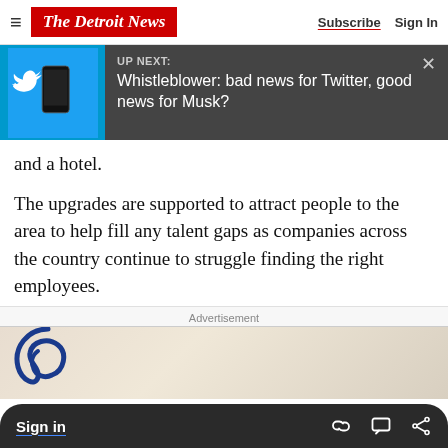The Detroit News — Subscribe  Sign In
[Figure (screenshot): UP NEXT banner with Twitter bird logo and phone image on blue background, showing article title: Whistleblower: bad news for Twitter, good news for Musk?]
and a hotel.
The upgrades are supported to attract people to the area to help fill any talent gaps as companies across the country continue to struggle finding the right employees.
Advertisement
[Figure (illustration): Partial advertisement image showing blonde hair and a blue decorative element]
Sign in